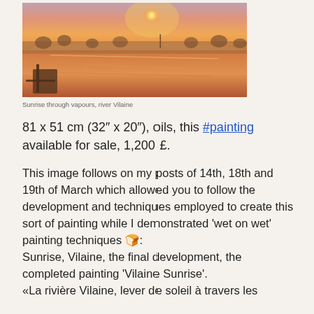[Figure (photo): Painting of sunrise over river Vilaine with warm orange and pink tones, water reflections, trees silhouetted in background, artist equipment visible in foreground]
Sunrise through vapours, river Vilaine
81 x 51 cm (32″ x 20″), oils, this #painting available for sale, 1,200 £.
This image follows on my posts of 14th, 18th and 19th of March which allowed you to follow the development and techniques employed to create this sort of painting while I demonstrated ‘wet on wet’ painting techniques 🍞: Sunrise, Vilaine, the final development, the completed painting ‘Vilaine Sunrise’. «La rivière Vilaine, lever de soleil à travers les